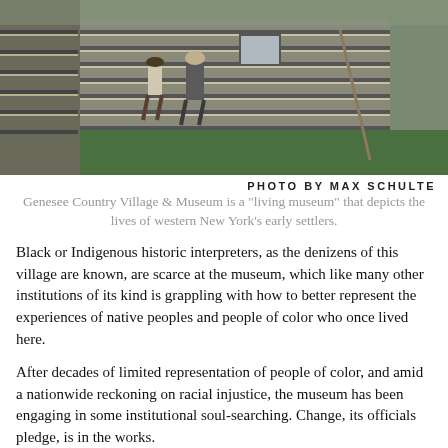[Figure (photo): Two people in period costume walking in front of a log cabin building with white chinking, green grass in foreground, Genesee Country Village & Museum]
PHOTO BY MAX SCHULTE
Genesee Country Village & Museum is a "living museum" that depicts the lives of western New York's early settlers.
Black or Indigenous historic interpreters, as the denizens of this village are known, are scarce at the museum, which like many other institutions of its kind is grappling with how to better represent the experiences of native peoples and people of color who once lived here.
After decades of limited representation of people of color, and amid a nationwide reckoning on racial injustice, the museum has been engaging in some institutional soul-searching. Change, its officials pledge, is in the works.
"We recognize as a museum, particularly one tha... ch-